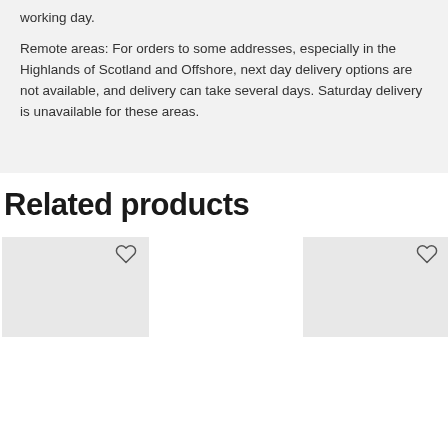working day.
Remote areas: For orders to some addresses, especially in the Highlands of Scotland and Offshore, next day delivery options are not available, and delivery can take several days. Saturday delivery is unavailable for these areas.
Related products
[Figure (other): Two product cards with heart/wishlist icons in the Related products section]